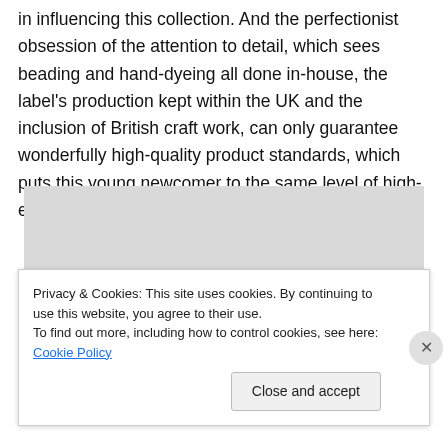in influencing this collection. And the perfectionist obsession of the attention to detail, which sees beading and hand-dyeing all done in-house, the label's production kept within the UK and the inclusion of British craft work, can only guarantee wonderfully high-quality product standards, which puts this young newcomer to the same level of high-end designers.
[Figure (photo): Two models with long dark straight hair photographed against a light grey background. Left model faces forward; right model faces away showing the back of her hair.]
Privacy & Cookies: This site uses cookies. By continuing to use this website, you agree to their use.
To find out more, including how to control cookies, see here: Cookie Policy